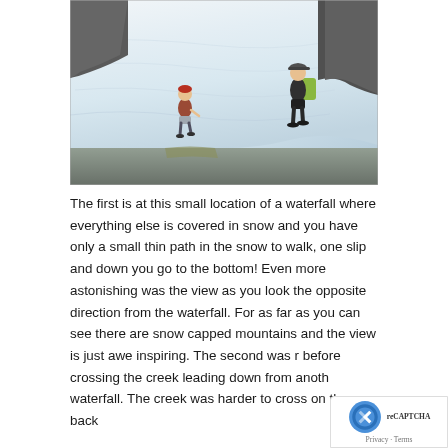[Figure (photo): Two hikers (a child and an adult with a backpack) walking along a narrow path through a large snow field near a waterfall, with dark rocks visible on the left and right sides.]
The first is at this small location of a waterfall where everything else is covered in snow and you have only a small thin path in the snow to walk, one slip and down you go to the bottom!  Even more astonishing was the view as you look the opposite direction from the waterfall.  For as far as you can see there are snow capped mountains and the view is just awe inspiring.  The second was r before crossing the creek leading down from anoth waterfall.  The creek was harder to cross on the way back